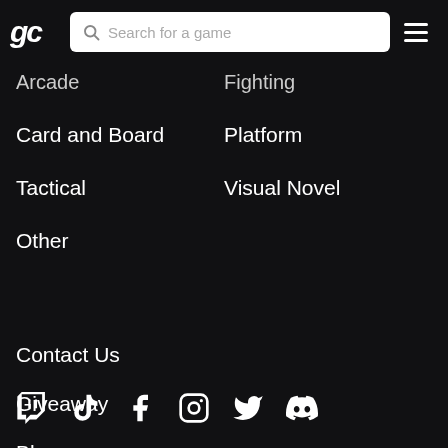[Figure (logo): gc logo in white italic bold text]
Search for a game
[Figure (other): Hamburger menu icon (three horizontal lines)]
Arcade
Fighting
Card and Board
Platform
Tactical
Visual Novel
Other
Contact Us
Giveaway
Blog
[Figure (other): Social media icons: Twitch, TikTok, Facebook, Instagram, Twitter/X, Discord]